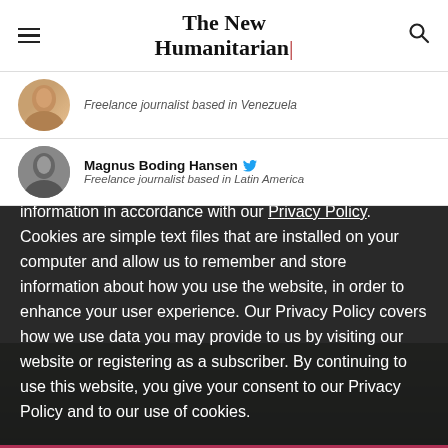The New Humanitarian
Freelance journalist based in Venezuela
Magnus Boding Hansen
Freelance journalist based in Latin America
We use cookies on this site to collect and analyze information in accordance with our Privacy Policy. Cookies are simple text files that are installed on your computer and allow us to remember and store information about how you use the website, in order to enhance your user experience. Our Privacy Policy covers how we use data you may provide to us by visiting our website or registering as a subscriber. By continuing to use this website, you give your consent to our Privacy Policy and to our use of cookies.
OK, I agree